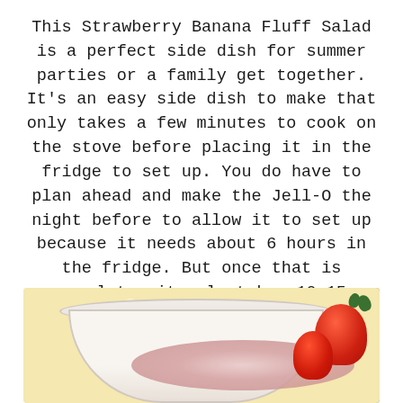This Strawberry Banana Fluff Salad is a perfect side dish for summer parties or a family get together. It's an easy side dish to make that only takes a few minutes to cook on the stove before placing it in the fridge to set up. You do have to plan ahead and make the Jell-O the night before to allow it to set up because it needs about 6 hours in the fridge. But once that is complete, it only takes 10-15 minutes to mix all the ingredients together.
[Figure (photo): A bowl of strawberry banana fluff salad, pink/cream colored, with fresh strawberries beside it, on a lace-patterned yellow background]